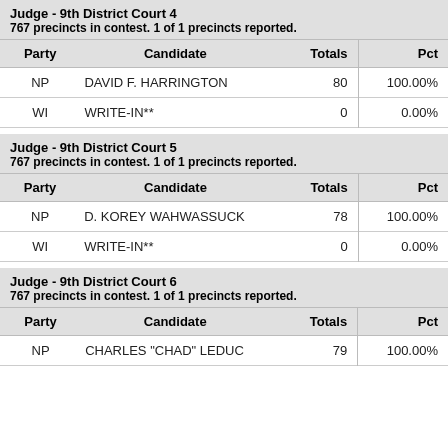Judge - 9th District Court 4
767 precincts in contest. 1 of 1 precincts reported.
| Party | Candidate | Totals | Pct |
| --- | --- | --- | --- |
| NP | DAVID F. HARRINGTON | 80 | 100.00% |
| WI | WRITE-IN** | 0 | 0.00% |
Judge - 9th District Court 5
767 precincts in contest. 1 of 1 precincts reported.
| Party | Candidate | Totals | Pct |
| --- | --- | --- | --- |
| NP | D. KOREY WAHWASSUCK | 78 | 100.00% |
| WI | WRITE-IN** | 0 | 0.00% |
Judge - 9th District Court 6
767 precincts in contest. 1 of 1 precincts reported.
| Party | Candidate | Totals | Pct |
| --- | --- | --- | --- |
| NP | CHARLES "CHAD" LEDUC | 79 | 100.00% |